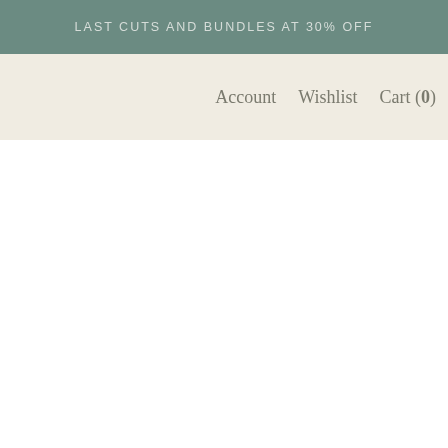LAST CUTS AND BUNDLES AT 30% OFF
Account   Wishlist   Cart (0)